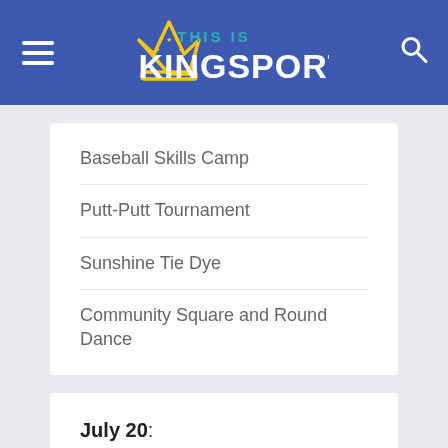[Figure (logo): This Is Kingsport logo with gold crown and teal/white text on blue header background]
Baseball Skills Camp
Putt-Putt Tournament
Sunshine Tie Dye
Community Square and Round Dance
July 20:
Basketball Knockout Tournament
Tiny Tournament